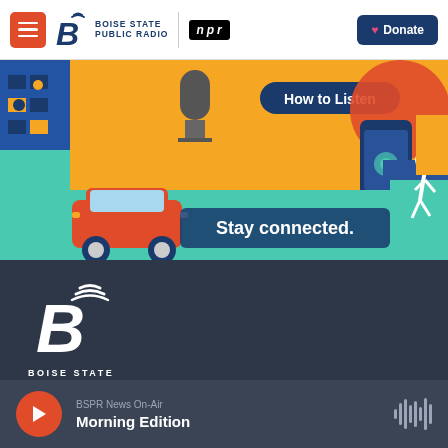Boise State Public Radio | NPR — Donate
[Figure (illustration): Colorful banner advertisement: 'How to Listen — Stay connected.' with illustrated city scene, car, phone, and running figure on orange and blue background]
[Figure (logo): Boise State Public Radio logo — large white B with radio waves on dark navy/gray background, text BOISE STATE PUBLIC RADIO]
BSPR News On-Air
Morning Edition